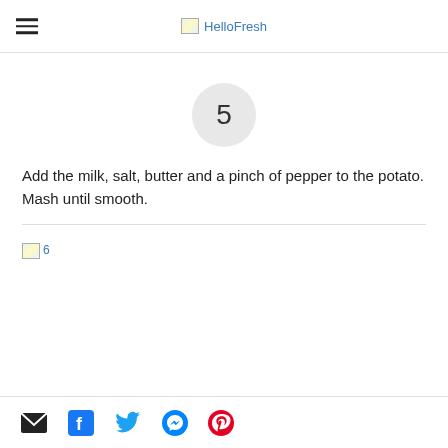HelloFresh
[Figure (other): Step number 5 displayed in a light grey circle]
Add the milk, salt, butter and a pinch of pepper to the potato. Mash until smooth.
[Figure (other): Broken image placeholder labeled 6]
Social share icons: email, Facebook, Twitter, Messenger, Pinterest